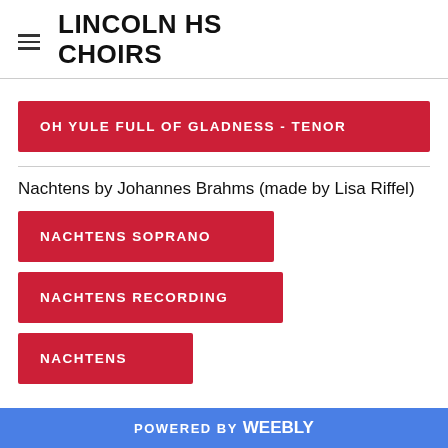LINCOLN HS CHOIRS
OH YULE FULL OF GLADNESS - TENOR
Nachtens by Johannes Brahms (made by Lisa Riffel)
NACHTENS SOPRANO
NACHTENS RECORDING
NACHTENS
POWERED BY weebly